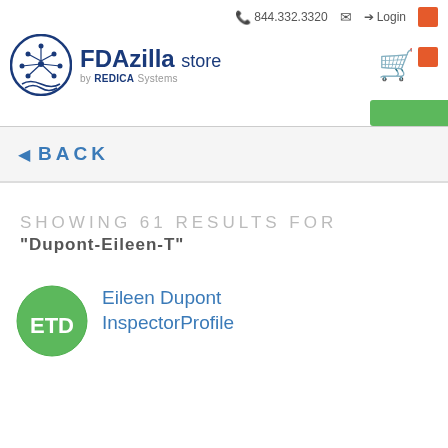844.332.3320  Login
[Figure (logo): FDAzilla store by REDICA Systems logo with circular tree/network emblem]
◄ BACK
SHOWING 61 RESULTS FOR "Dupont-Eileen-T"
Eileen Dupont InspectorProfile